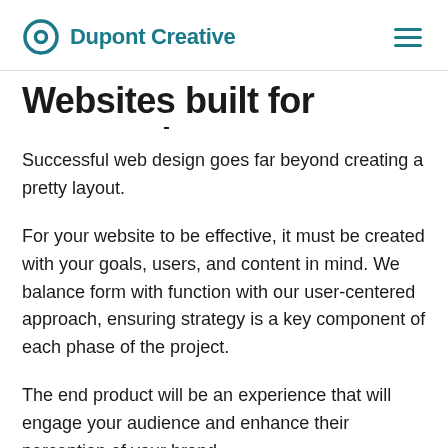Dupont Creative
Websites built for success!
Successful web design goes far beyond creating a pretty layout.
For your website to be effective, it must be created with your goals, users, and content in mind. We balance form with function with our user-centered approach, ensuring strategy is a key component of each phase of the project.
The end product will be an experience that will engage your audience and enhance their perception of your brand.